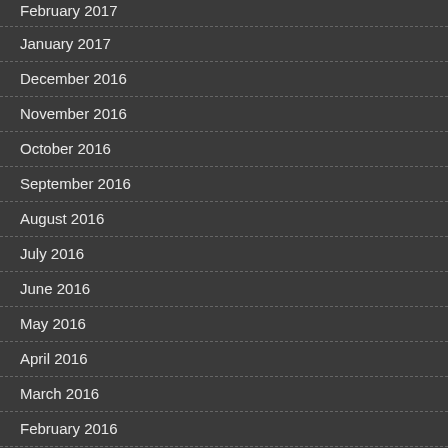February 2017
January 2017
December 2016
November 2016
October 2016
September 2016
August 2016
July 2016
June 2016
May 2016
April 2016
March 2016
February 2016
January 2016
December 2015